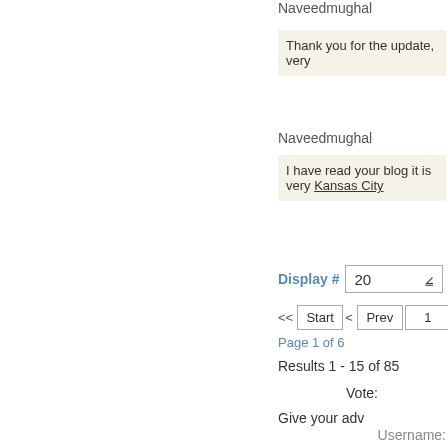Naveedmughal
Thank you for the update, very
Naveedmughal
I have read your blog it is very Kansas City
Display # 20
<< Start < Prev 1 2 3 4
Page 1 of 6
Results 1 - 15 of 85
Vote:
Give your adv
Username: